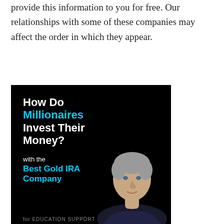you click on their links, which allows us to provide this information to you for free. Our relationships with some of these companies may affect the order in which they appear.
[Figure (illustration): Advertisement banner on black background. Text reads: 'How Do Millionaires Invest Their Money? with the Best Gold IRA Company'. Shows a middle-aged man with grey hair on the right side. Partially cut off at the bottom with text 'for EDUCATION SUPPORT'.]